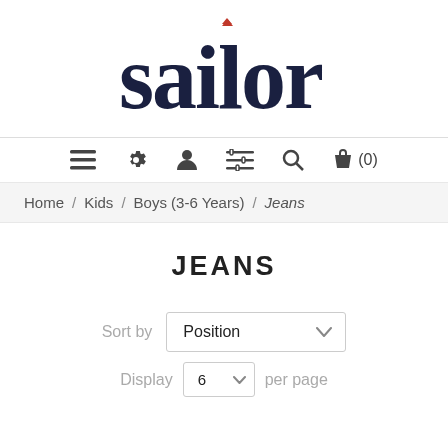[Figure (logo): Sailor brand logo with dark navy text and red accent triangle above the letter i]
[Figure (infographic): Navigation bar with icons: hamburger menu, settings gear, user profile, filter sliders, search magnifier, shopping bag with (0)]
Home / Kids / Boys (3-6 Years) / Jeans
JEANS
Sort by   Position
Display  6  per page